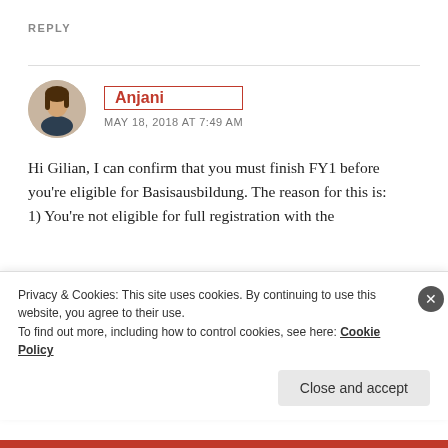REPLY
Anjani
MAY 18, 2018 AT 7:49 AM
Hi Gilian, I can confirm that you must finish FY1 before you're eligible for Basisausbildung. The reason for this is:
1) You're not eligible for full registration with the
Privacy & Cookies: This site uses cookies. By continuing to use this website, you agree to their use.
To find out more, including how to control cookies, see here: Cookie Policy
Close and accept